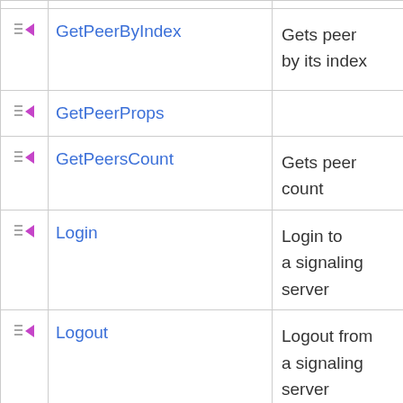|  | Name | Description |
| --- | --- | --- |
| [icon] | GetPeerByIndex | Gets peer by its index |
| [icon] | GetPeerProps |  |
| [icon] | GetPeersCount | Gets peer count |
| [icon] | Login | Login to a signaling server |
| [icon] | Logout | Logout from a signaling server |